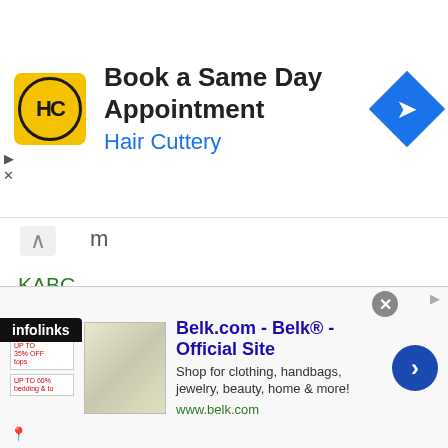[Figure (screenshot): Hair Cuttery ad banner: yellow logo with HC, 'Book a Same Day Appointment' title, 'Hair Cuttery' subtitle in blue, blue diamond arrow icon on right]
m (partial, truncated)
KABC
Kadoebi
Kaewfah Tor Buamas
Kai Chiba
Kaichi Yamazaki
Kai Ishizawa
Kai Johnson
Kaiki Yuba
Kairat Yeraliyev
Kai Ting Chuang
kubo (partial, truncated)
[Figure (screenshot): Belk.com bottom ad banner: Belk Official Site, shop for clothing handbags jewelry beauty home and more, www.belk.com, with product image and blue arrow button]